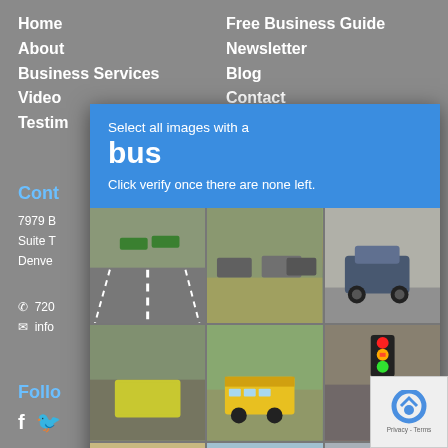Home
About
Business Services
Video
Testim...
Free Business Guide
Newsletter
Blog
Contact
Cont...
7979 B
Suite T
Denve...
720...
info...
Follo...
[Figure (screenshot): CAPTCHA modal overlay with blue header showing 'Select all images with a bus / Click verify once there are none left.' and a 3x3 grid of street scene photos for selecting bus images]
[Figure (photo): reCAPTCHA badge with logo and Privacy/Terms links]